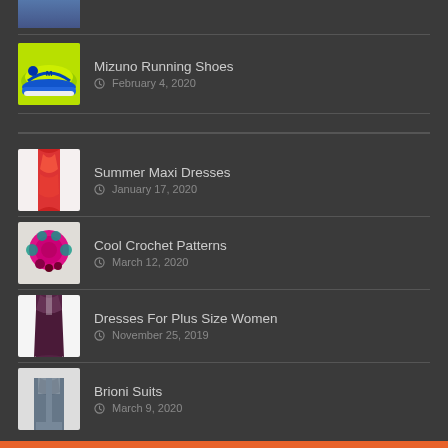[Figure (photo): Partial thumbnail of an item at the top (cropped)]
Mizuno Running Shoes
February 4, 2020
Summer Maxi Dresses
January 17, 2020
Cool Crochet Patterns
March 12, 2020
Dresses For Plus Size Women
November 25, 2019
Brioni Suits
March 9, 2020